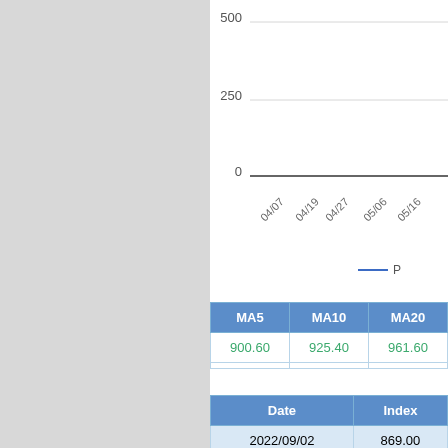[Figure (continuous-plot): Partial line chart showing index values over dates from 04/07 to 05/16+. Y-axis shows values 0, 250, 500. X-axis labels: 04/07, 04/19, 04/27, 05/06, 05/16. A blue line legend marker is partially visible at bottom right.]
| MA5 | MA10 | MA20 |
| --- | --- | --- |
| 900.60 | 925.40 | 961.60 |
| Date | Index |
| --- | --- |
| 2022/09/02 | 869.00 |
| 2022/09/01 | 880.00 |
| 2022/08/31 | 902.00 |